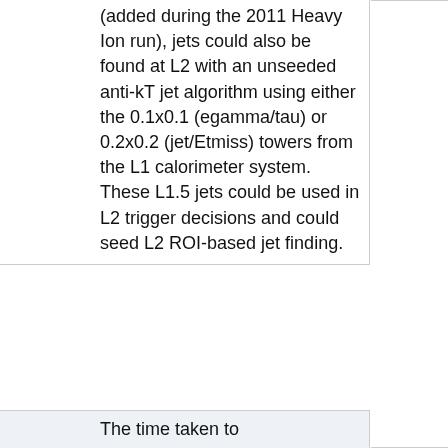(added during the 2011 Heavy Ion run), jets could also be found at L2 with an unseeded anti-kT jet algorithm using either the 0.1x0.1 (egamma/tau) or 0.2x0.2 (jet/Etmiss) towers from the L1 calorimeter system. These L1.5 jets could be used in L2 trigger decisions and could seed L2 ROI-based jet finding.
The time taken to